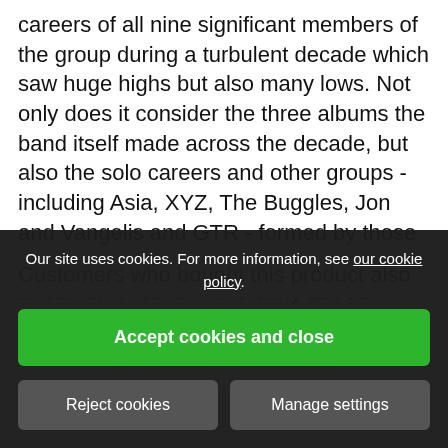careers of all nine significant members of the group during a turbulent decade which saw huge highs but also many lows. Not only does it consider the three albums the band itself made across the decade, but also the solo careers and other groups - including Asia, XYZ, The Buggles, Jon and Vangelis and GTR - formed by those musicians as the decade wound towards a reunion of sorts in the early 1990s
Customers who bought this product also
Our site uses cookies. For more information, see our cookie policy.
Accept cookies and close
Reject cookies
Manage settings